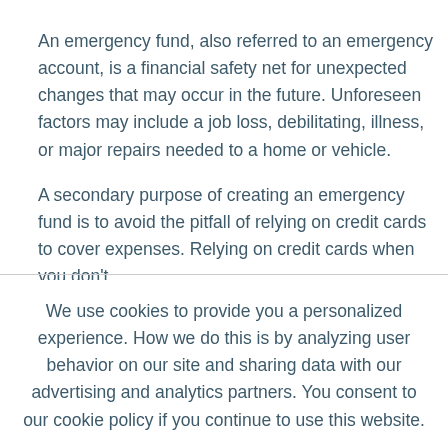An emergency fund, also referred to an emergency account, is a financial safety net for unexpected changes that may occur in the future. Unforeseen factors may include a job loss, debilitating, illness, or major repairs needed to a home or vehicle.
A secondary purpose of creating an emergency fund is to avoid the pitfall of relying on credit cards to cover expenses. Relying on credit cards when you don't
We use cookies to provide you a personalized experience. How we do this is by analyzing user behavior on our site and sharing data with our advertising and analytics partners. You consent to our cookie policy if you continue to use this website.
I UNDERSTAND